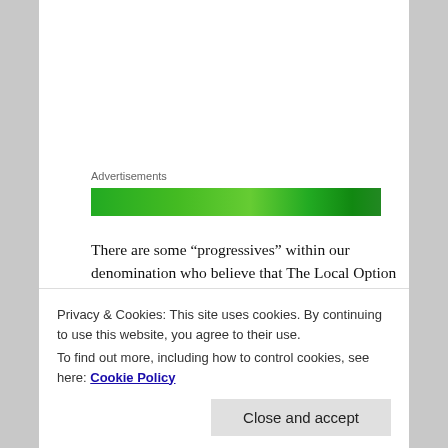Advertisements
[Figure (other): Green advertisement banner]
There are some “progressives” within our denomination who believe that The Local Option is a good and helpful step that with time will eventually and inevitably lead to full inclusion for LGBTQI people. Love Prevails strenuously objects to this kind of thinking. This matter is far too urgent. “More time” translates as more lives lost. We believe that creating pockets of injustice is an intolerable solution which lacks the full force of gospel integrity that
Privacy & Cookies: This site uses cookies. By continuing to use this website, you agree to their use.
To find out more, including how to control cookies, see here: Cookie Policy
Close and accept
Third Way, or The Local Option, will be repackaged. The